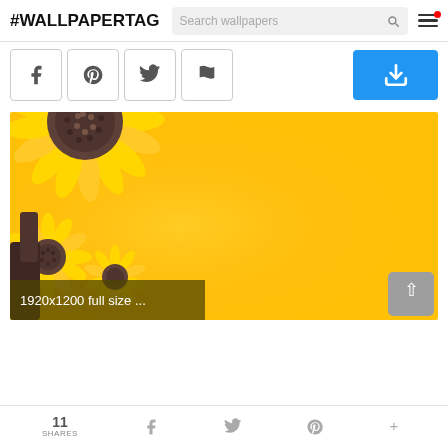#WALLPAPERTAG  Search wallpapers
[Figure (screenshot): Toolbar with social share buttons (Facebook, Pinterest, Twitter, Flag) and a blue download button]
[Figure (photo): Sunflower wallpaper image showing sunflowers on a bright yellow background, with overlay text '1920x1200 full size ...' and a scroll-to-top button]
11 SHARES  f  Twitter  Pinterest  +